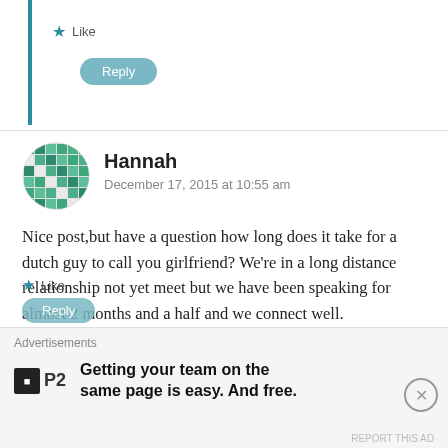Like
Reply
Hannah
December 17, 2015 at 10:55 am
Nice post,but have a question how long does it take for a dutch guy to call you girlfriend? We’re in a long distance relationship not yet meet but we have been speaking for almost 2 months and a half and we connect well.
If anyone can answer me please do,thanks and have a lovely day!
Like
Reply
Advertisements
Getting your team on the same page is easy. And free.